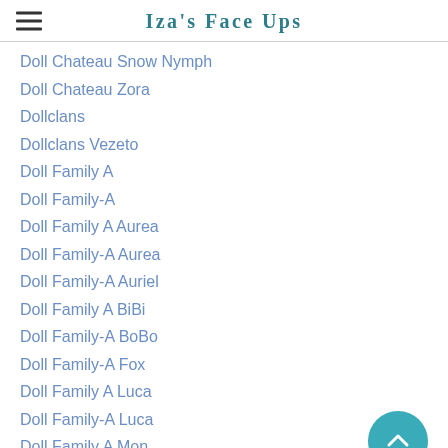Iza's Face Ups
Doll Chateau Snow Nymph
Doll Chateau Zora
Dollclans
Dollclans Vezeto
Doll Family A
Doll Family-A
Doll Family A Aurea
Doll Family-A Aurea
Doll Family-A Auriel
Doll Family A BiBi
Doll Family-A BoBo
Doll Family-A Fox
Doll Family A Luca
Doll Family-A Luca
Doll Family A Mon
DOll Family-A Susu
Doll Family-H
Doll Family-H ...